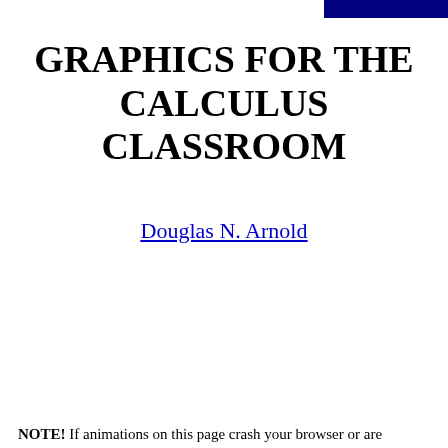GRAPHICS FOR THE CALCULUS CLASSROOM
Douglas N. Arnold
NOTE! If animations on this page crash your browser or are